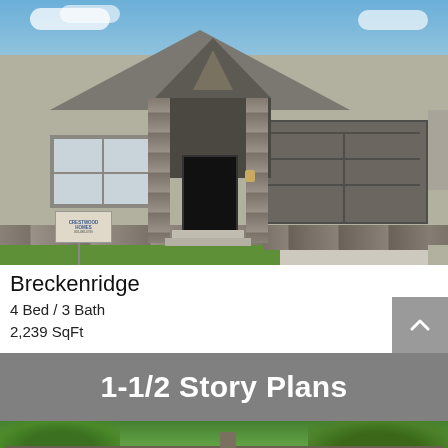[Figure (photo): Exterior photo of the Breckenridge home plan — a single-story house with grey stucco siding, stone column accents, decorative gable entry, large double-pane windows, two-car dark brown garage door, concrete driveway, and landscaping in front. A Crestwood Homes sign is visible in the yard. Blue sky with clouds in background.]
Breckenridge
4 Bed / 3 Bath
2,239 SqFt
1-1/2 Story Plans
[Figure (photo): Partial exterior photo of a 1-1/2 story home plan — showing front facade with tan/cream stucco, wood accent panel, low-pitched roof, and lush green trees in the background. Only the top portion is visible.]